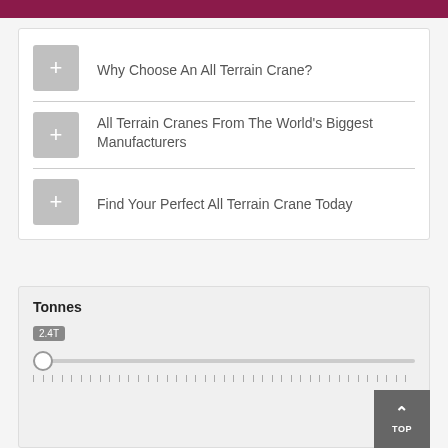Why Choose An All Terrain Crane?
All Terrain Cranes From The World's Biggest Manufacturers
Find Your Perfect All Terrain Crane Today
Tonnes
2.4T